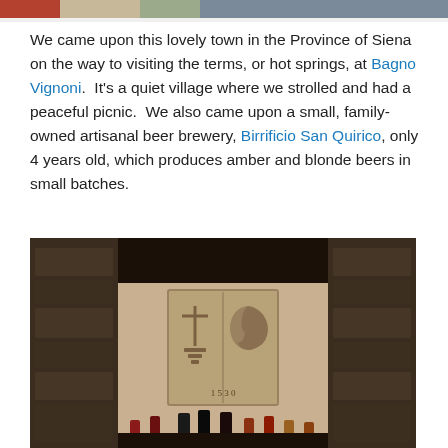[Figure (photo): Partial top strip of a photo showing a town scene, cut off at the top of the page]
We came upon this lovely town in the Province of Siena on the way to visiting the terms, or hot springs, at Bagno Vignoni.  It's a quiet village where we strolled and had a peaceful picnic.  We also came upon a small, family-owned artisanal beer brewery, Birrificio San Quirico, only 4 years old, which produces amber and blonde beers in small batches.
[Figure (photo): Interior stone cellar or cave with ancient stone relief tablet mounted on the wall showing heraldic symbols and a date 1530, with wine bottles lined up along the bottom]